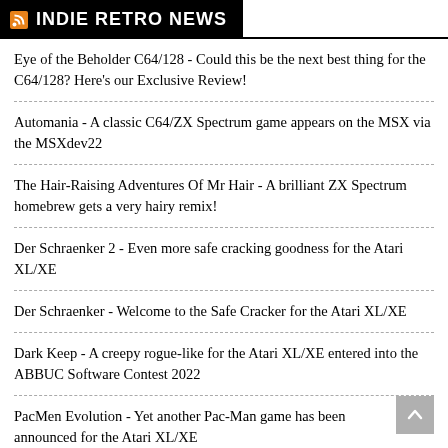INDIE RETRO NEWS
Eye of the Beholder C64/128 - Could this be the next best thing for the C64/128? Here's our Exclusive Review!
Automania - A classic C64/ZX Spectrum game appears on the MSX via the MSXdev22
The Hair-Raising Adventures Of Mr Hair - A brilliant ZX Spectrum homebrew gets a very hairy remix!
Der Schraenker 2 - Even more safe cracking goodness for the Atari XL/XE
Der Schraenker - Welcome to the Safe Cracker for the Atari XL/XE
Dark Keep - A creepy rogue-like for the Atari XL/XE entered into the ABBUC Software Contest 2022
PacMen Evolution - Yet another Pac-Man game has been announced for the Atari XL/XE